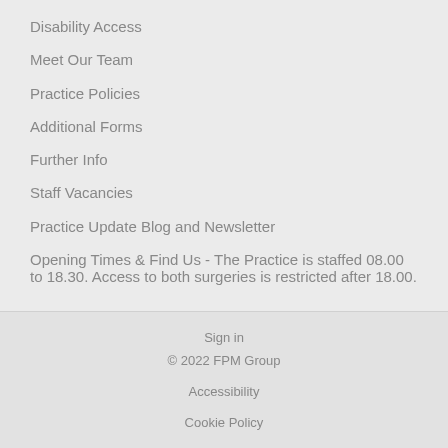Disability Access
Meet Our Team
Practice Policies
Additional Forms
Further Info
Staff Vacancies
Practice Update Blog and Newsletter
Opening Times & Find Us - The Practice is staffed 08.00 to 18.30. Access to both surgeries is restricted after 18.00.
Sign in
© 2022 FPM Group
Accessibility
Cookie Policy
Data Processing Policy